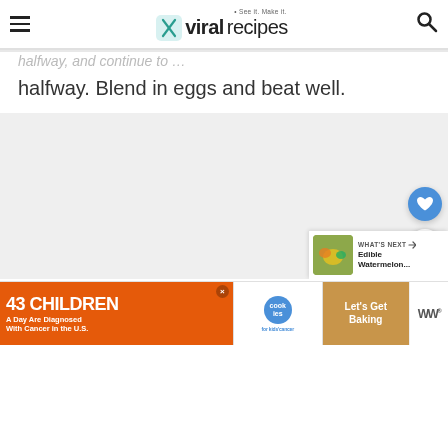viral recipes — See it. Make it.
halfway. Blend in eggs and beat well.
[Figure (photo): Large food/recipe image placeholder area (light gray background), with floating heart (favorite) and share action buttons on the right side, and a 'WHAT'S NEXT → Edible Watermelon...' card at bottom right with a food thumbnail.]
[Figure (infographic): Advertisement banner: '43 CHILDREN A Day Are Diagnosed With Cancer in the U.S.' with cookies for kids cancer logo and 'Let's Get Baking' text on a cookie image background. Close button (×) shown. WW° logo on the right.]